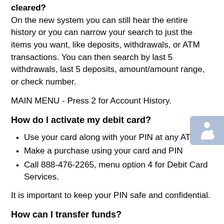cleared? On the new system you can still hear the entire history or you can narrow your search to just the items you want, like deposits, withdrawals, or ATM transactions. You can then search by last 5 withdrawals, last 5 deposits, amount/amount range, or check number.
MAIN MENU - Press 2 for Account History.
How do I activate my debit card?
Use your card along with your PIN at any ATM
Make a purchase using your card and PIN
Call 888-476-2265, menu option 4 for Debit Card Services.
It is important to keep your PIN safe and confidential.
How can I transfer funds?